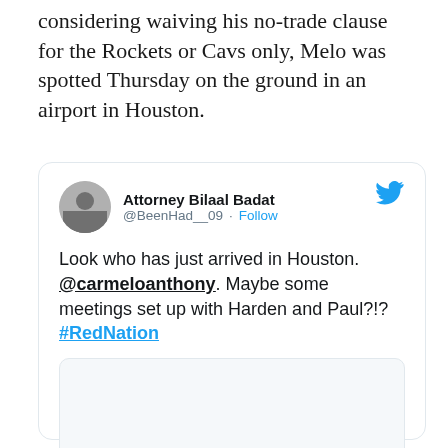considering waiving his no-trade clause for the Rockets or Cavs only, Melo was spotted Thursday on the ground in an airport in Houston.
[Figure (screenshot): Embedded tweet from @BeenHad__09 (Attorney Bilaal Badat) saying 'Look who has just arrived in Houston. @carmeloanthony. Maybe some meetings set up with Harden and Paul?!? #RedNation' with a photo attachment placeholder.]